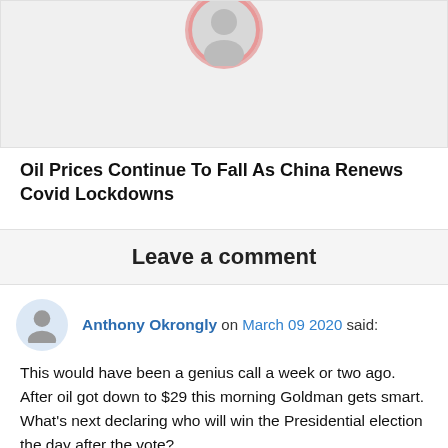[Figure (illustration): Partial view of a profile avatar image with a pink/red circular border on a light gray background, cropped at the top]
Oil Prices Continue To Fall As China Renews Covid Lockdowns
Leave a comment
Anthony Okrongly on March 09 2020 said:
This would have been a genius call a week or two ago. After oil got down to $29 this morning Goldman gets smart. What's next declaring who will win the Presidential election the day after the vote?